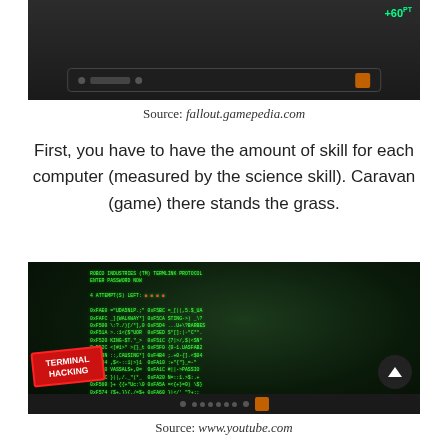[Figure (screenshot): Screenshot of a Fallout video game HUD/interface showing a dark control panel with orange button and indicator dots, with green score +60 in top right corner]
Source: fallout.gamepedia.com
First, you have to have the amount of skill for each computer (measured by the science skill). Caravan (game) there stands the grass.
[Figure (screenshot): Screenshot of a Fallout terminal hacking minigame showing a green-on-black terminal screen with ROBCO INDUSTRIES (TM) TERMLINK PROTOCOL text, ENTER PASSWORD NOW prompt, 4 ATTEMPT(S) LEFT with indicators, and rows of hex addresses with scrambled text. A red TERMINAL HACKING stamp/badge is visible in the bottom left corner.]
Source: www.youtube.com